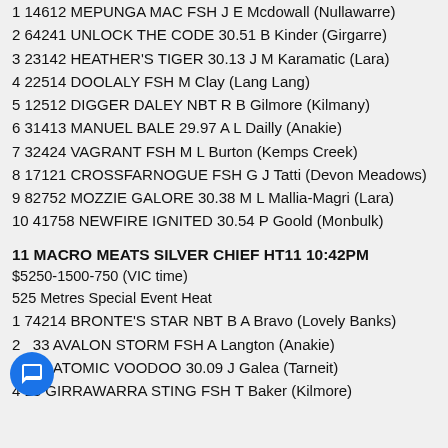1 14612 MEPUNGA MAC FSH J E Mcdowall (Nullawarre)
2 64241 UNLOCK THE CODE 30.51 B Kinder (Girgarre)
3 23142 HEATHER'S TIGER 30.13 J M Karamatic (Lara)
4 22514 DOOLALY FSH M Clay (Lang Lang)
5 12512 DIGGER DALEY NBT R B Gilmore (Kilmany)
6 31413 MANUEL BALE 29.97 A L Dailly (Anakie)
7 32424 VAGRANT FSH M L Burton (Kemps Creek)
8 17121 CROSSFARNOGUE FSH G J Tatti (Devon Meadows)
9 82752 MOZZIE GALORE 30.38 M L Mallia-Magri (Lara)
10 41758 NEWFIRE IGNITED 30.54 P Goold (Monbulk)
11 MACRO MEATS SILVER CHIEF HT11 10:42PM
$5250-1500-750 (VIC time)
525 Metres Special Event Heat
1 74214 BRONTE'S STAR NBT B A Bravo (Lovely Banks)
2 [obscured]33 AVALON STORM FSH A Langton (Anakie)
3 [obscured]27 ATOMIC VOODOO 30.09 J Galea (Tarneit)
4 13 GIRRAWARRA STING FSH T Baker (Kilmore)